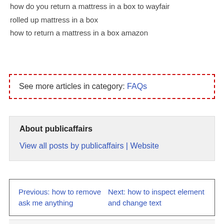how do you return a mattress in a box to wayfair
rolled up mattress in a box
how to return a mattress in a box amazon
See more articles in category: FAQs
About publicaffairs
View all posts by publicaffairs | Website
Previous: how to remove ask me anything
Next: how to inspect element and change text